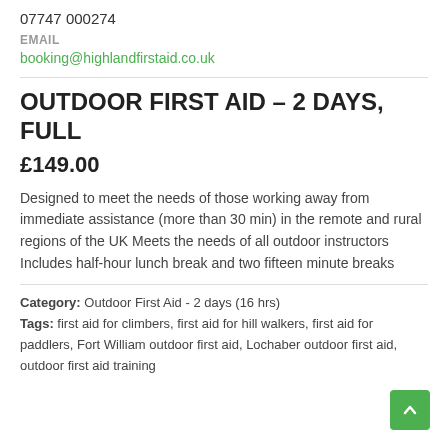07747 000274
EMAIL
booking@highlandfirstaid.co.uk
OUTDOOR FIRST AID – 2 DAYS, FULL
£149.00
Designed to meet the needs of those working away from immediate assistance (more than 30 min) in the remote and rural regions of the UK Meets the needs of all outdoor instructors Includes half-hour lunch break and two fifteen minute breaks
Category: Outdoor First Aid - 2 days (16 hrs)
Tags: first aid for climbers, first aid for hill walkers, first aid for paddlers, Fort William outdoor first aid, Lochaber outdoor first aid, outdoor first aid training